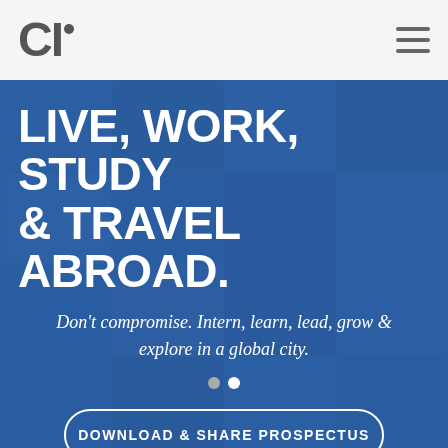[Figure (logo): CI logo with stylized letters CI and a small dot, in gray, top left of header]
[Figure (illustration): Hamburger menu icon with three horizontal lines, top right of header]
[Figure (photo): Hero image with blue-overlaid photo collage of students studying and traveling abroad]
LIVE, WORK, STUDY & TRAVEL ABROAD.
Don't compromise. Intern, learn, lead, grow & explore in a global city.
DOWNLOAD & SHARE PROSPECTUS
GET STARTED NOW